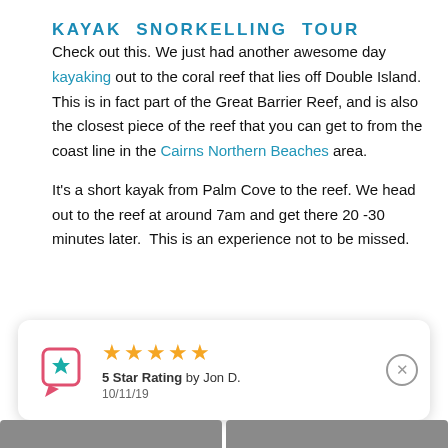KAYAK SNORKELLING TOUR
Check out this. We just had another awesome day kayaking out to the coral reef that lies off Double Island. This is in fact part of the Great Barrier Reef, and is also the closest piece of the reef that you can get to from the coast line in the Cairns Northern Beaches area.
It’s a short kayak from Palm Cove to the reef. We head out to the reef at around 7am and get there 20 -30 minutes later. This is an experience not to be missed.
[Figure (other): Review card with 5 gold stars, a teal chat/book icon with star, text '5 Star Rating by Jon D. 10/11/19', and a close (X) button]